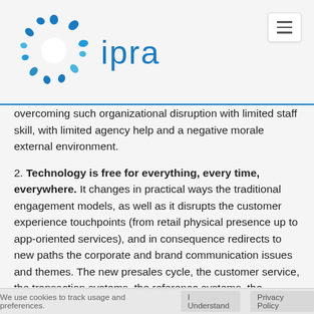[Figure (logo): IPRA logo with circular dot pattern in blue and teal colors, followed by 'ipra' text in light blue]
overcoming such organizational disruption with limited staff skill, with limited agency help and a negative morale external environment.
2. Technology is free for everything, every time, everywhere. It changes in practical ways the traditional engagement models, as well as it disrupts the customer experience touchpoints (from retail physical presence up to app-oriented services), and in consequence redirects to new paths the corporate and brand communication issues and themes. The new presales cycle, the customer service, the transaction systems, the reference systems, the location based services, the real-time price comparisons, the majority of service owners ...all ‘go tech’. While this is the reality,
We use cookies to track usage and preferences.   I Understand   Privacy Policy